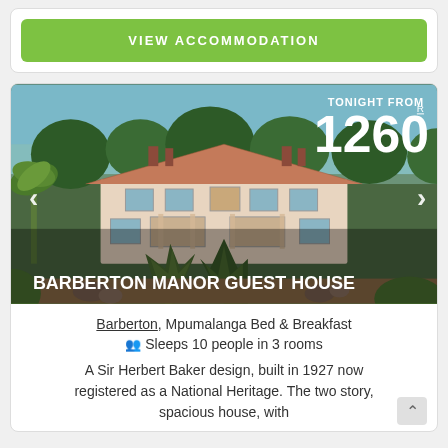VIEW ACCOMMODATION
[Figure (photo): Barberton Manor Guest House - a two-story heritage building with terracotta roof tiles surrounded by tropical gardens and palm trees. Price overlay shows 'TONIGHT FROM R 1260'. Navigation arrows on left and right. Property name 'BARBERTON MANOR GUEST HOUSE' displayed as text overlay.]
Barberton, Mpumalanga Bed & Breakfast
Sleeps 10 people in 3 rooms
A Sir Herbert Baker design, built in 1927 now registered as a National Heritage. The two story, spacious house, with